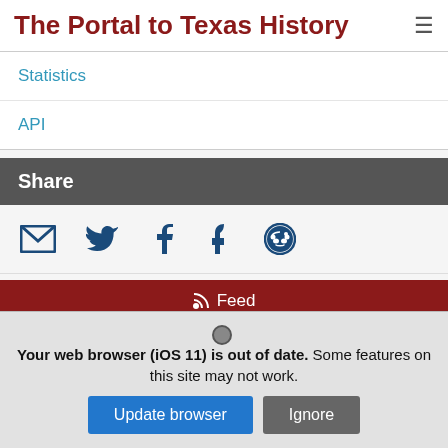The Portal to Texas History
Statistics
API
Share
[Figure (other): Social sharing icons: email, Twitter, Facebook, Tumblr, Reddit]
Feed
Your web browser (iOS 11) is out of date. Some features on this site may not work.
Update browser  Ignore